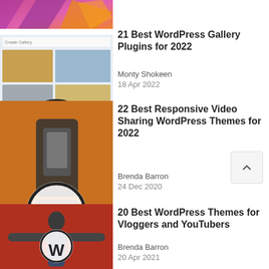[Figure (screenshot): Partial top of colorful abstract image with pink and orange shapes, partially cropped]
[Figure (screenshot): WordPress gallery plugin screenshot with photo grid and WordPress logo overlay]
21 Best WordPress Gallery Plugins for 2022
Monty Shokeen
18 Apr 2022
[Figure (photo): Camera gimbal stabilizer with smartphone attached, orange background, WordPress logo overlay]
22 Best Responsive Video Sharing WordPress Themes for 2022
Brenda Barron
24 Dec 2020
[Figure (photo): Young man in denim jacket with arms spread wide, red background, WordPress logo overlay]
20 Best WordPress Themes for Vloggers and YouTubers
Brenda Barron
20 Apr 2021